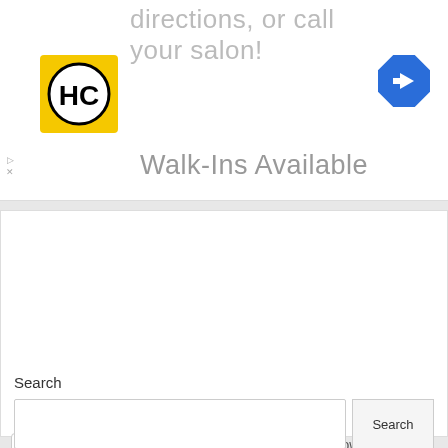directions, or call your salon!
[Figure (logo): HC logo — yellow square with black HC letters in a circle]
[Figure (other): Blue diamond navigation/turn arrow icon]
Walk-Ins Available
ave my name, email, and website in this browser for the next time I comment.
Post Comment »
Search
Search